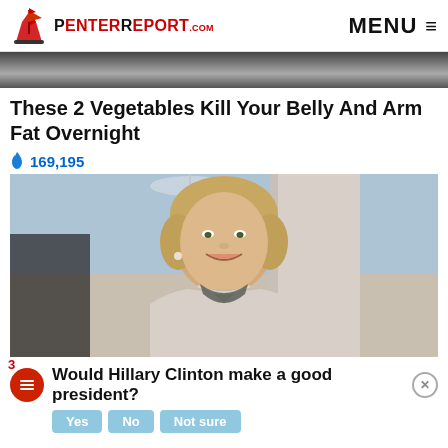PenterReport.com  MENU
[Figure (photo): Top strip of image showing people's torsos/waists in dark clothing]
These 2 Vegetables Kill Your Belly And Arm Fat Overnight
🔥 169,195
[Figure (photo): Photo of Hillary Clinton smiling, wearing a white/grey tweed jacket with pearl necklace, standing in a room with blue walls and chandelier]
3
Would Hillary Clinton make a good president?
Yes   No   Not sure